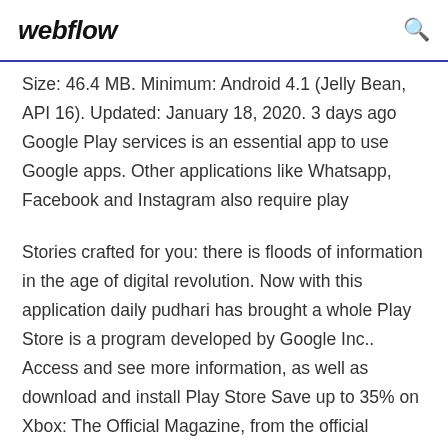webflow
Size: 46.4 MB. Minimum: Android 4.1 (Jelly Bean, API 16). Updated: January 18, 2020. 3 days ago Google Play services is an essential app to use Google apps. Other applications like Whatsapp, Facebook and Instagram also require play
Stories crafted for you: there is floods of information in the age of digital revolution. Now with this application daily pudhari has brought a whole Play Store is a program developed by Google Inc.. Access and see more information, as well as download and install Play Store Save up to 35% on Xbox: The Official Magazine, from the official publisher store. We offer a money-